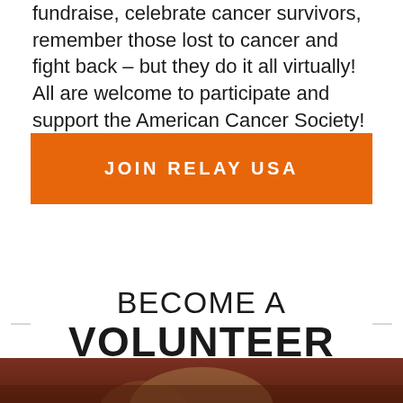fundraise, celebrate cancer survivors, remember those lost to cancer and fight back – but they do it all virtually! All are welcome to participate and support the American Cancer Society!
JOIN RELAY USA
BECOME A VOLUNTEER
[Figure (photo): Photo of a person wearing a dark red/maroon top, outdoors with trees in background, partially visible at bottom of page]